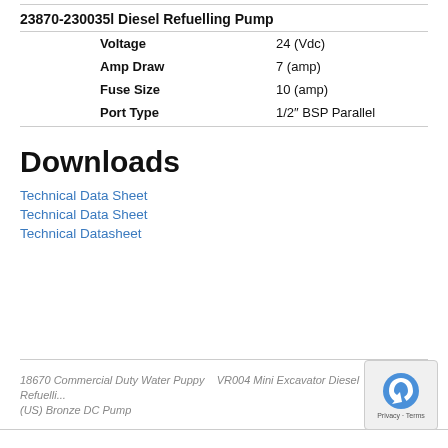| 23870-230035l Diesel Refuelling Pump |  |
| --- | --- |
| Voltage | 24 (Vdc) |
| Amp Draw | 7 (amp) |
| Fuse Size | 10 (amp) |
| Port Type | 1/2″ BSP Parallel |
Downloads
Technical Data Sheet
Technical Data Sheet
Technical Datasheet
18670 Commercial Duty Water Puppy (US) Bronze DC Pump   VR004 Mini Excavator Diesel Refuelling...